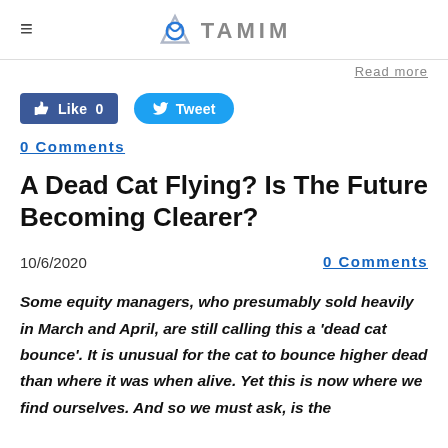TAMIM
Read more
[Figure (other): Facebook Like button (0 likes) and Twitter Tweet button]
0 Comments
A Dead Cat Flying? Is The Future Becoming Clearer?
10/6/2020
0 Comments
Some equity managers, who presumably sold heavily in March and April, are still calling this a 'dead cat bounce'. It is unusual for the cat to bounce higher dead than where it was when alive. Yet this is now where we find ourselves. And so we must ask, is the